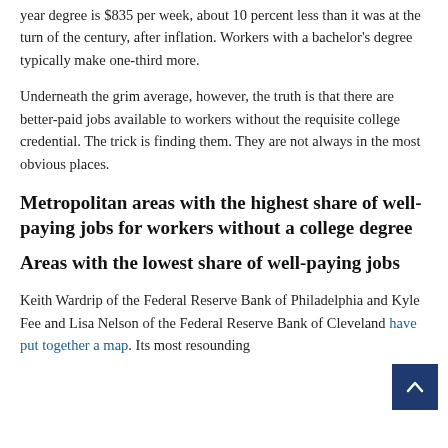year degree is $835 per week, about 10 percent less than it was at the turn of the century, after inflation. Workers with a bachelor's degree typically make one-third more.
Underneath the grim average, however, the truth is that there are better-paid jobs available to workers without the requisite college credential. The trick is finding them. They are not always in the most obvious places.
Metropolitan areas with the highest share of well-paying jobs for workers without a college degree
Areas with the lowest share of well-paying jobs
Keith Wardrip of the Federal Reserve Bank of Philadelphia and Kyle Fee and Lisa Nelson of the Federal Reserve Bank of Cleveland have put together a map. Its most resounding echo from earlier generations. Shoot at the corner.